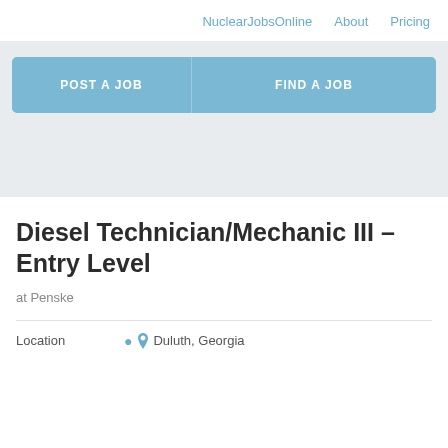NuclearJobsOnline   About   Pricing
[Figure (screenshot): Navigation buttons: POST A JOB and FIND A JOB on a gray background]
Diesel Technician/Mechanic III – Entry Level
at Penske
Location   Duluth, Georgia